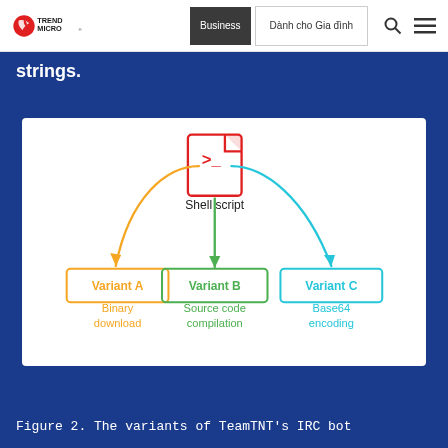Trend Micro | Business | Dành cho Gia đình
strings.
[Figure (flowchart): Flowchart showing a Shell script at the top connecting to three variants: Variant A (Binary download, orange), Variant B (Source code compilation, green), Variant C (Base64 encoding, teal/cyan).]
Figure 2. The variants of TeamTNT's IRC bot